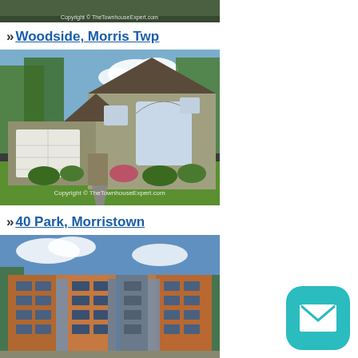[Figure (photo): Partial top of a landscape/property photo with copyright watermark reading 'Copyright © TheTownhouseExpert.com']
» Woodside, Morris Twp
[Figure (photo): Photo of a suburban home with siding, attached garage, circular driveway, green lawn and trees. Watermark reads 'Copyright © TheTownhouseExpert.com']
» 40 Park, Morristown
[Figure (photo): Photo of a multi-story brick and contemporary apartment/condo building under blue sky with trees]
[Figure (other): Teal rounded square mail/email button icon in bottom-right corner]